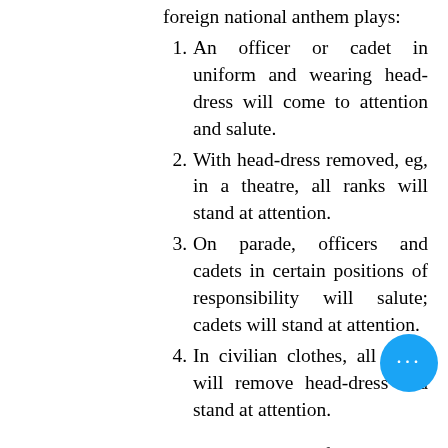foreign national anthem plays:
1. An officer or cadet in uniform and wearing head-dress will come to attention and salute.
2. With head-dress removed, eg, in a theatre, all ranks will stand at attention.
3. On parade, officers and cadets in certain positions of responsibility will salute; cadets will stand at attention.
4. In civilian clothes, all ranks will remove head-dress and stand at attention.
When the national flag is being lowered or raised, cadets shall halt, face the flag, stand at attention and salute.
Cadets shall salute the quarter-deck